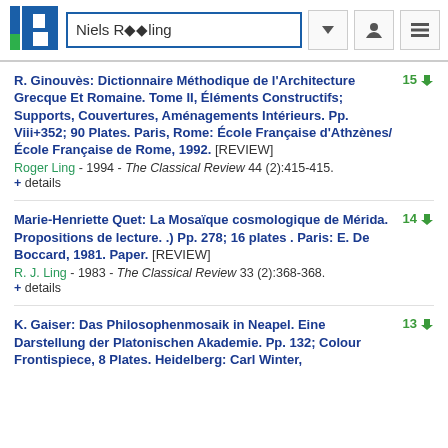Niels Röling
R. Ginouvès: Dictionnaire Méthodique de l'Architecture Grecque Et Romaine. Tome II, Éléments Constructifs; Supports, Couvertures, Aménagements Intérieurs. Pp. Viii+352; 90 Plates. Paris, Rome: École Française d'Athzènes/École Française de Rome, 1992. [REVIEW] — Roger Ling - 1994 - The Classical Review 44 (2):415-415. + details (15 citations)
Marie-Henriette Quet: La Mosaïque cosmologique de Mérida. Propositions de lecture. .) Pp. 278; 16 plates . Paris: E. De Boccard, 1981. Paper. [REVIEW] — R. J. Ling - 1983 - The Classical Review 33 (2):368-368. + details (14 citations)
K. Gaiser: Das Philosophenmosaik in Neapel. Eine Darstellung der Platonischen Akademie. Pp. 132; Colour Frontispiece, 8 Plates. Heidelberg: Carl Winter, (13 citations)